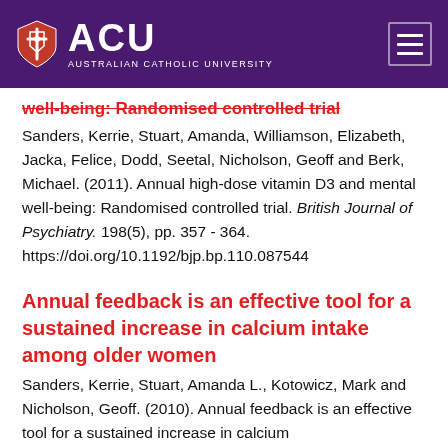ACU Australian Catholic University
well-being: Randomised controlled trial
Sanders, Kerrie, Stuart, Amanda, Williamson, Elizabeth, Jacka, Felice, Dodd, Seetal, Nicholson, Geoff and Berk, Michael. (2011). Annual high-dose vitamin D3 and mental well-being: Randomised controlled trial. British Journal of Psychiatry. 198(5), pp. 357 - 364. https://doi.org/10.1192/bjp.bp.110.087544
Annual feedback is an effective tool for a sustained increase in calcium intake among older women
Sanders, Kerrie, Stuart, Amanda L., Kotowicz, Mark and Nicholson, Geoff. (2010). Annual feedback is an effective tool for a sustained increase in calcium